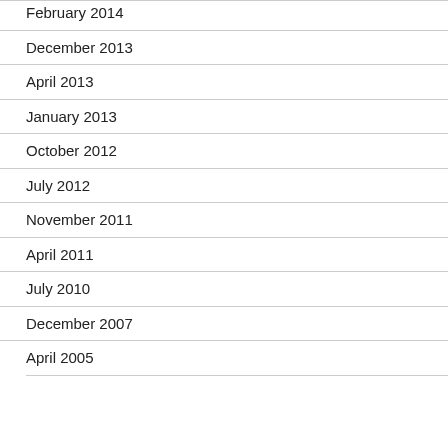February 2014
December 2013
April 2013
January 2013
October 2012
July 2012
November 2011
April 2011
July 2010
December 2007
April 2005